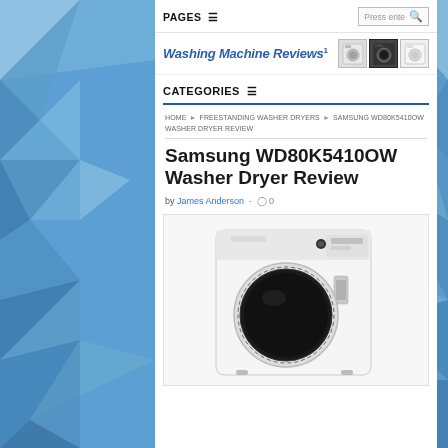PAGES ≡
Press ente [search]
Washing Machine Reviews1
CATEGORIES ≡
HOME › FREESTANDING WASHER DRYERS › SAMSUNG WD80K5410OW WASHER DRYER REVIEW
Samsung WD80K5410OW Washer Dryer Review
by James Anderson · ○ 0
[Figure (photo): Samsung WD80K5410OW washer dryer, front-loading machine with black door porthole and white body, shown against white background]